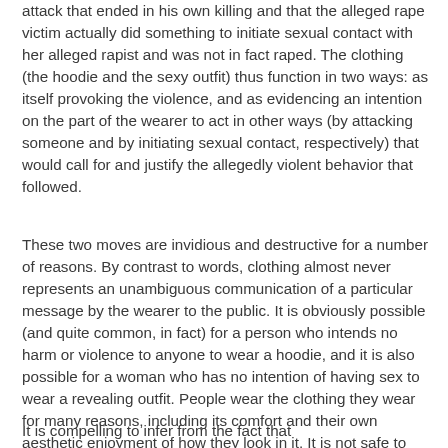attack that ended in his own killing and that the alleged rape victim actually did something to initiate sexual contact with her alleged rapist and was not in fact raped.  The clothing (the hoodie and the sexy outfit) thus function in two ways:  as itself provoking the violence, and as evidencing an intention on the part of the wearer to act in other ways (by attacking someone and by initiating sexual contact, respectively) that would call for and justify the allegedly violent behavior that followed.
These two moves are invidious and destructive for a number of reasons.  By contrast to words, clothing almost never represents an unambiguous communication of a particular message by the wearer to the public.  It is obviously possible (and quite common, in fact) for a person who intends no harm or violence to anyone to wear a hoodie, and it is also possible for a woman who has no intention of having sex to wear a revealing outfit.  People wear the clothing they wear for many reasons, including its comfort and their own aesthetic enjoyment of how they look in it.  It is not safe to draw communicative inferences from clothing.
It is compelling to infer from the fact that...